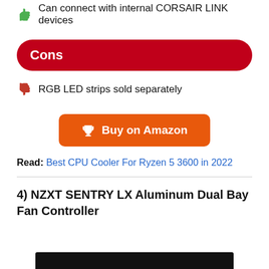Can connect with internal CORSAIR LINK devices
Cons
RGB LED strips sold separately
[Figure (other): Orange Buy on Amazon button with trophy icon]
Read: Best CPU Cooler For Ryzen 5 3600 in 2022
4) NZXT SENTRY LX Aluminum Dual Bay Fan Controller
[Figure (photo): Bottom edge of a product image, dark/black background]